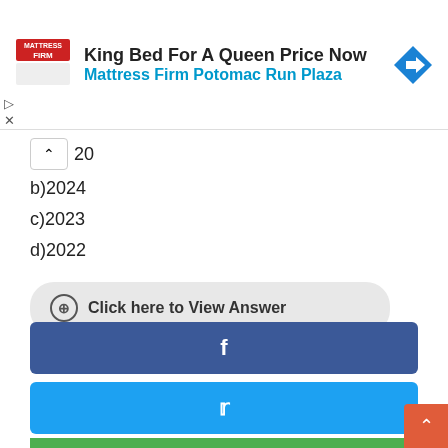[Figure (screenshot): Mattress Firm advertisement banner with logo, headline 'King Bed For A Queen Price Now', subline 'Mattress Firm Potomac Run Plaza', and navigation arrow icon]
20
b)2024
c)2023
d)2022
Click here to View Answer
[Figure (screenshot): Social share buttons: Facebook (blue), Twitter (cyan), Google+ (red), and a green bar partially visible at bottom. Scroll-to-top button in orange-red at bottom right.]